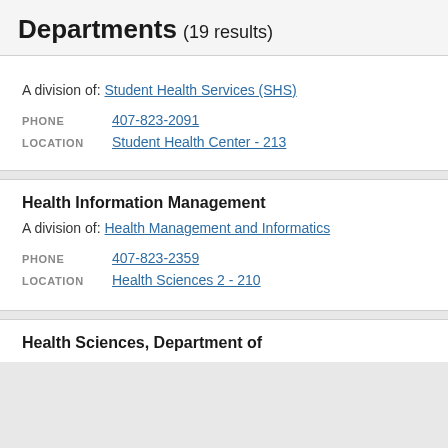Departments (19 results)
A division of: Student Health Services (SHS)
PHONE 407-823-2091
LOCATION Student Health Center - 213
Health Information Management
A division of: Health Management and Informatics
PHONE 407-823-2359
LOCATION Health Sciences 2 - 210
Health Sciences, Department of